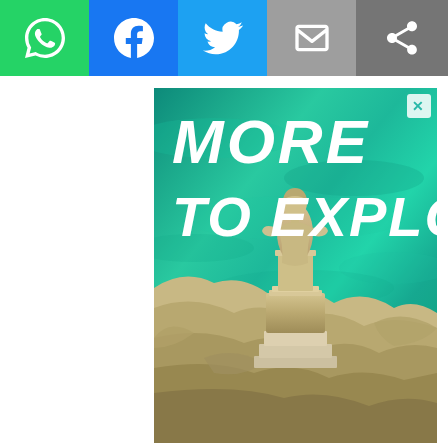[Figure (screenshot): Social media sharing toolbar with WhatsApp (green), Facebook (blue), Twitter (light blue), Email (grey) buttons on the left, and a share icon on the right grey background]
[Figure (photo): Advertisement banner reading MORE TO EXPLORE with a photo of a stone religious statue on a rocky cliff overlooking turquoise Mediterranean water, with a close/dismiss X button in the top right corner]